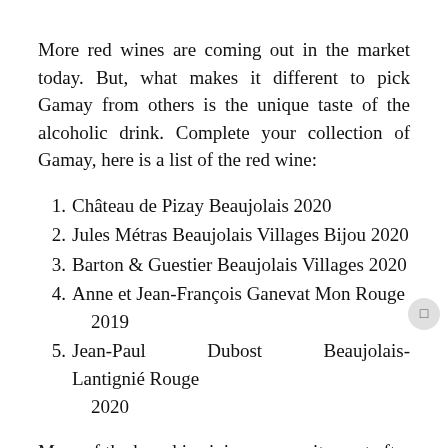More red wines are coming out in the market today. But, what makes it different to pick Gamay from others is the unique taste of the alcoholic drink. Complete your collection of Gamay, here is a list of the red wine:
1. Château de Pizay Beaujolais 2020
2. Jules Métras Beaujolais Villages Bijou 2020
3. Barton & Guestier Beaujolais Villages 2020
4. Anne et Jean-François Ganevat Mon Rouge 2019
5. Jean-Paul Dubost Beaujolais-Lantignié Rouge 2020
More of the brand is giving you excitement after you tasted it. Why not make a good choice of red wine than any other variety of them? You may